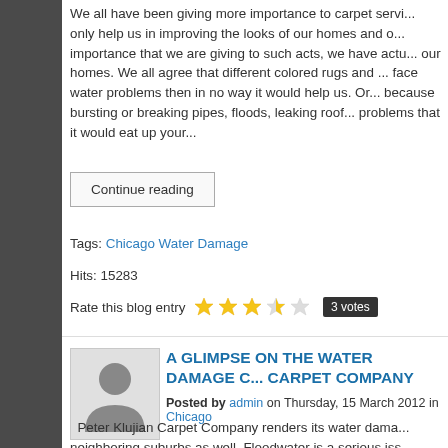We all have been giving more importance to carpet servi... only help us in improving the looks of our homes and o... importance that we are giving to such acts, we have actu... our homes. We all agree that different colored rugs and ... face water problems then in no way it would help us. Or... because bursting or breaking pipes, floods, leaking roof... problems that it would eat up your...
Continue reading
Tags: Chicago Water Damage
Hits: 15283
Rate this blog entry  ★★★☆☆  3 votes
[Figure (photo): Silhouette avatar placeholder image of a person]
A GLIMPSE ON THE WATER DAMAGE C... CARPET COMPANY
Posted by admin on Thursday, 15 March 2012 in Chicago...
Peter Klujian Carpet Company renders its water dama... neighboring suburbs as well. Floodwater is a serious iss...